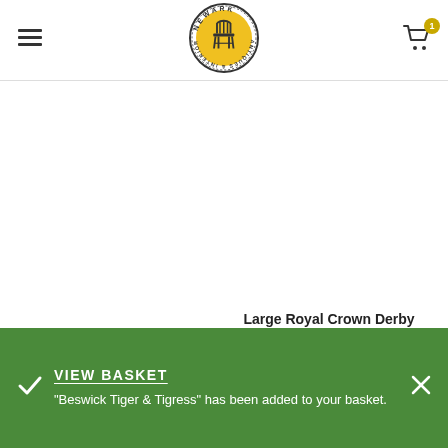[Figure (logo): Newark Antiques & Interiors circular logo with yellow background and a Windsor chair illustration]
Pilkingtons Royal Lancastrian Lustre Vase
Ceramics
£949.00
Large Royal Crown Derby Ginger Jar
Ceramics, Vases
£128.00
VIEW BASKET
"Beswick Tiger & Tigress" has been added to your basket.